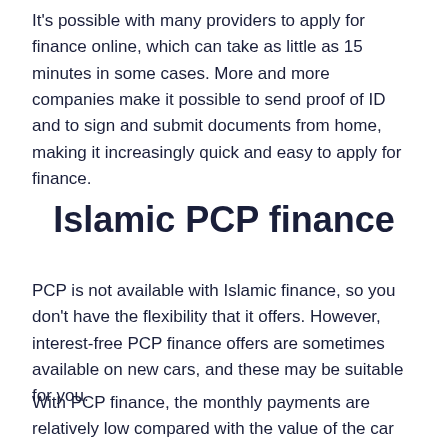It's possible with many providers to apply for finance online, which can take as little as 15 minutes in some cases. More and more companies make it possible to send proof of ID and to sign and submit documents from home, making it increasingly quick and easy to apply for finance.
Islamic PCP finance
PCP is not available with Islamic finance, so you don't have the flexibility that it offers. However, interest-free PCP finance offers are sometimes available on new cars, and these may be suitable for you.
With PCP finance, the monthly payments are relatively low compared with the value of the car because they